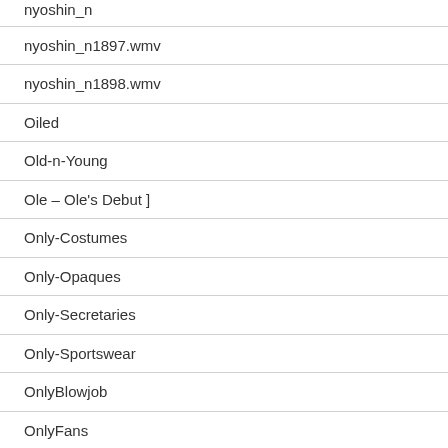nyoshin_n1897.wmv
nyoshin_n1898.wmv
Oiled
Old-n-Young
Ole – Ole's Debut ]
Only-Costumes
Only-Opaques
Only-Secretaries
Only-Sportswear
OnlyBlowjob
OnlyFans
OnlyOpaques
OnlySecretaries